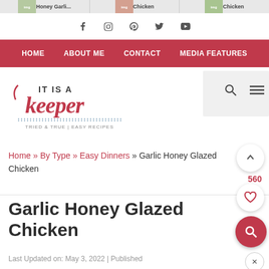[Figure (screenshot): Top strip showing cropped food images with labels: Honey Garli..., Chicken, Chicken]
Social media icons: Facebook, Instagram, Pinterest, Twitter, YouTube
HOME | ABOUT ME | CONTACT | MEDIA FEATURES
[Figure (logo): It Is A Keeper logo - script and sans-serif text, red and dark colors, TRIED & TRUE | EASY RECIPES tagline]
Home » By Type » Easy Dinners » Garlic Honey Glazed Chicken
Garlic Honey Glazed Chicken
Last Updated on: May 3, 2022 | Published